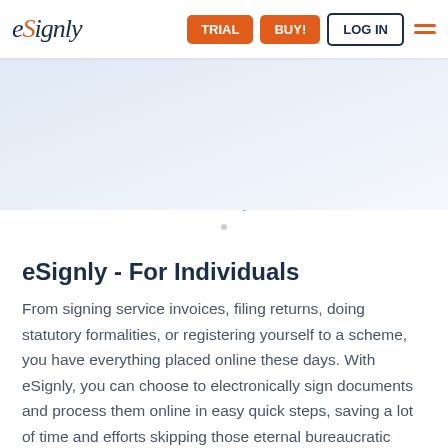eSignly logo with TRIAL, BUY!, LOG IN navigation buttons
E-signing documents with eSignly's even-erful document sharing features. With super handy access and smooth turn-arounds backed by deep-rooted security!
eSignly - For Individuals
From signing service invoices, filing returns, doing statutory formalities, or registering yourself to a scheme, you have everything placed online these days. With eSignly, you can choose to electronically sign documents and process them online in easy quick steps, saving a lot of time and efforts skipping those eternal bureaucratic queues.